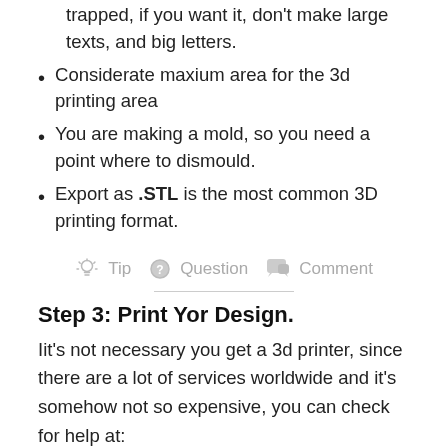trapped, if you want it, don't make large texts, and big letters.
Considerate maxium area for the 3d printing area
You are making a mold, so you need a point where to dismould.
Export as .STL is the most common 3D printing format.
[Figure (infographic): Tip, Question, Comment icons with labels in gray]
Step 3: Print Yor Design.
Iit's not necessary you get a 3d printer, since there are a lot of services worldwide and it's somehow not so expensive, you can check for help at: